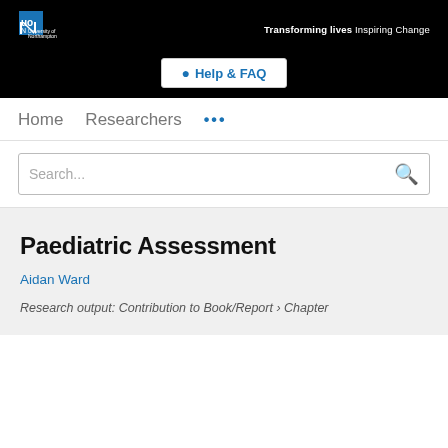[Figure (logo): University of Northampton logo with N mark in white on black background]
Transforming lives Inspiring Change
⊕ Help & FAQ
Home   Researchers   •••
Search...
Paediatric Assessment
Aidan Ward
Research output: Contribution to Book/Report › Chapter